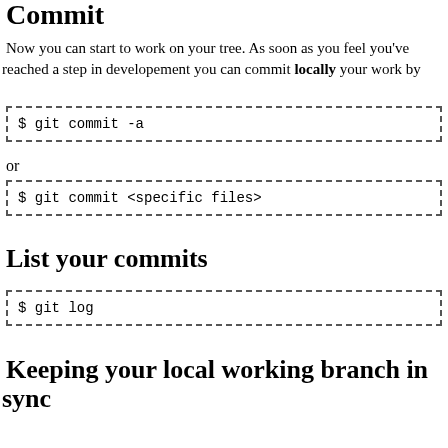Commit
Now you can start to work on your tree. As soon as you feel you've reached a step in developement you can commit locally your work by
$ git commit -a
or
$ git commit <specific files>
List your commits
$ git log
Keeping your local working branch in sync